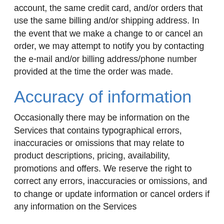account, the same credit card, and/or orders that use the same billing and/or shipping address. In the event that we make a change to or cancel an order, we may attempt to notify you by contacting the e-mail and/or billing address/phone number provided at the time the order was made.
Accuracy of information
Occasionally there may be information on the Services that contains typographical errors, inaccuracies or omissions that may relate to product descriptions, pricing, availability, promotions and offers. We reserve the right to correct any errors, inaccuracies or omissions, and to change or update information or cancel orders if any information on the Services